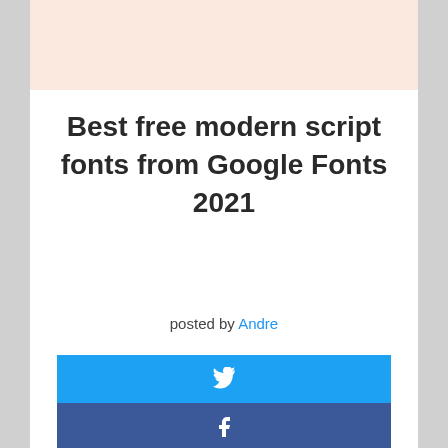[Figure (screenshot): Top banner with faint pink/salmon background, partial text visible at top]
Best free modern script fonts from Google Fonts 2021
posted by Andre
[Figure (infographic): Social share buttons: Twitter (blue), Facebook (dark blue), Pinterest (red), and a partially visible fourth button (red)]